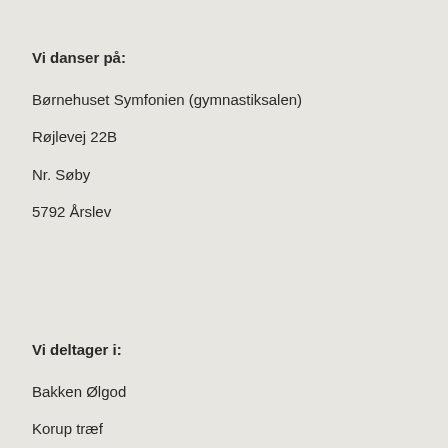Vi danser på:
Børnehuset Symfonien (gymnastiksalen)
Røjlevej 22B
Nr. Søby
5792 Årslev
Vi deltager i:
Bakken Ølgod
Korup træf